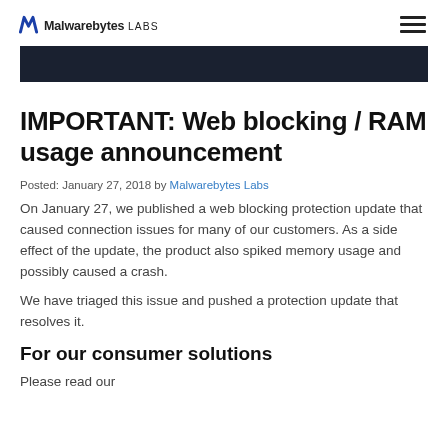Malwarebytes LABS
[Figure (other): Dark navy header image bar]
IMPORTANT: Web blocking / RAM usage announcement
Posted: January 27, 2018 by Malwarebytes Labs
On January 27, we published a web blocking protection update that caused connection issues for many of our customers. As a side effect of the update, the product also spiked memory usage and possibly caused a crash.
We have triaged this issue and pushed a protection update that resolves it.
For our consumer solutions
Please read our...